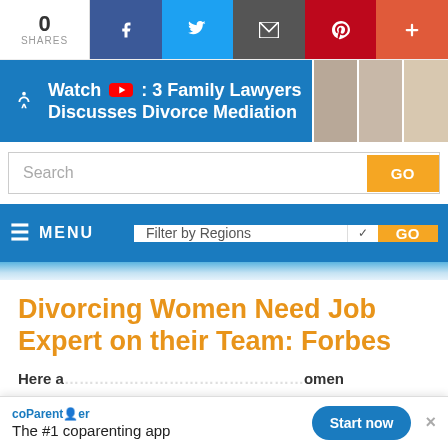0 SHARES — social share bar with Facebook, Twitter, Email, Pinterest, More
[Figure (screenshot): Banner: Watch YouTube: 3 Family Lawyers Discusses Divorce Mediation — with photos of three lawyers]
Search
MENU — Filter by Regions — GO
Divorcing Women Need Job Expert on their Team: Forbes
Here a… omen
coParenter — The #1 coparenting app — Start now